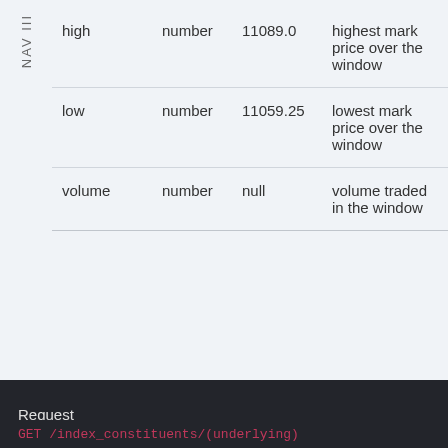|  |  |  |  |
| --- | --- | --- | --- |
| high | number | 11089.0 | highest mark price over the window |
| low | number | 11059.25 | lowest mark price over the window |
| volume | number | null | volume traded in the window |
Get index constituents
Request
GET /index_constituents/(underlying)